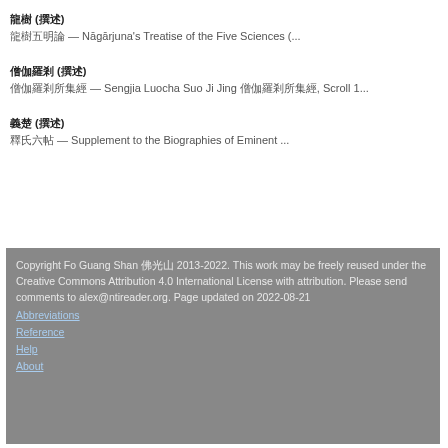龍樹 (撰述) — Nāgārjuna's Treatise of the Five Sciences (...
僧伽羅剎 (撰述) — Sengjia Luocha Suo Ji Jing 僧伽羅剎所集經, Scroll 1...
義楚 (撰述) — Supplement to the Biographies of Eminent ...
Copyright Fo Guang Shan 佛光山 2013-2022. This work may be freely reused under the Creative Commons Attribution 4.0 International License with attribution. Please send comments to alex@ntireader.org. Page updated on 2022-08-21
Abbreviations
Reference
Help
About